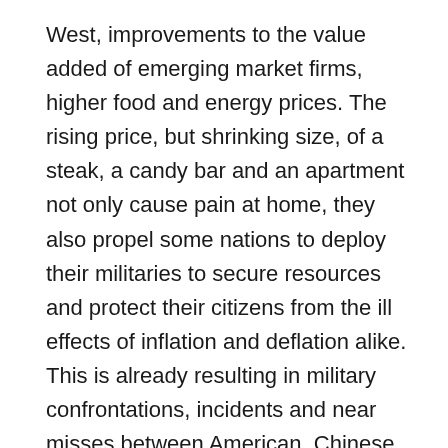West, improvements to the value added of emerging market firms, higher food and energy prices. The rising price, but shrinking size, of a steak, a candy bar and an apartment not only cause pain at home, they also propel some nations to deploy their militaries to secure resources and protect their citizens from the ill effects of inflation and deflation alike. This is already resulting in military confrontations, incidents and near misses between American, Chinese and Russian planes, warships and submarines.
The solution is growth and innovation. Luckily, anonymous individuals are balancing their hubris against the risk of failure and proceeding to build a